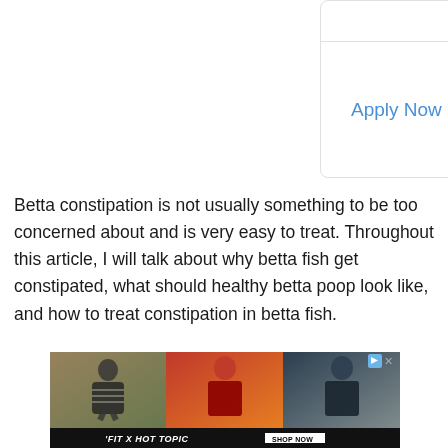[Figure (other): Advertisement card with 'Apply Now >' link in blue text on white background with rounded border]
Betta constipation is not usually something to be too concerned about and is very easy to treat. Throughout this article, I will talk about why betta fish get constipated, what should healthy betta poop look like, and how to treat constipation in betta fish.
[Figure (other): Advertisement banner for 'FIT X HOT TOPIC' with three panels showing people in fashion clothing, with 'SHOP NOW' button]